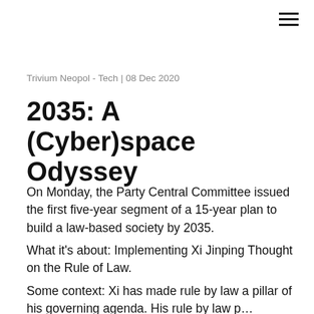Trivium Neopol - Tech | 08 Dec 2020
2035: A (Cyber)space Odyssey
On Monday, the Party Central Committee issued the first five-year segment of a 15-year plan to build a law-based society by 2035.
What it’s about: Implementing Xi Jinping Thought on the Rule of Law.
Some context: Xi has made rule by law a pillar of his governing agenda. His rule by law p…